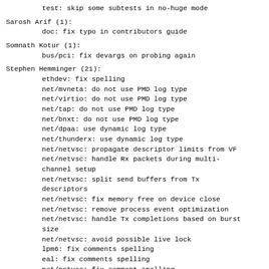test: skip some subtests in no-huge mode
Sarosh Arif (1):
      doc: fix typo in contributors guide
Somnath Kotur (1):
      bus/pci: fix devargs on probing again
Stephen Hemminger (21):
      ethdev: fix spelling
      net/mvneta: do not use PMD log type
      net/virtio: do not use PMD log type
      net/tap: do not use PMD log type
      net/bnxt: do not use PMD log type
      net/dpaa: use dynamic log type
      net/thunderx: use dynamic log type
      net/netvsc: propagate descriptor limits from VF
      net/netvsc: handle Rx packets during multi-channel setup
      net/netvsc: split send buffers from Tx descriptors
      net/netvsc: fix memory free on device close
      net/netvsc: remove process event optimization
      net/netvsc: handle Tx completions based on burst size
      net/netvsc: avoid possible live lock
      lpm6: fix comments spelling
      eal: fix comments spelling
      net/netvsc: fix comment spelling
      bus/vmbus: fix comment spelling